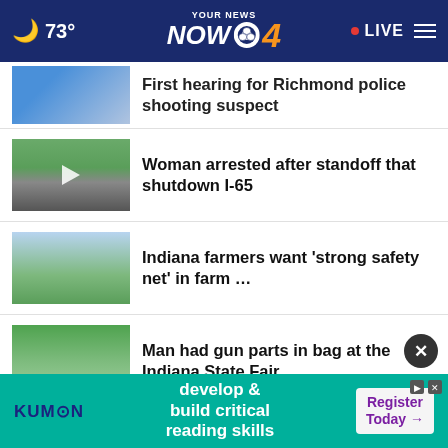73° YOUR NEWS NOW CBS 4 • LIVE
First hearing for Richmond police shooting suspect
Woman arrested after standoff that shutdown I-65
Indiana farmers want 'strong safety net' in farm …
Man had gun parts in bag at the Indiana State Fair
Indiana E. coli case may be linked to Wendy's lettuce
Multi-generational home coming to
[Figure (screenshot): Ad banner: Kumon — develop & build critical reading skills — Register Today]